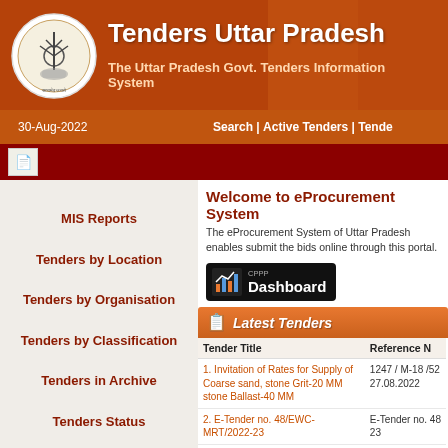[Figure (logo): Uttar Pradesh government emblem/seal circular logo in white]
Tenders Uttar Pradesh
The Uttar Pradesh Govt. Tenders Information System
30-Aug-2022 | Search | Active Tenders | Tenders
MIS Reports
Tenders by Location
Tenders by Organisation
Tenders by Classification
Tenders in Archive
Tenders Status
Welcome to eProcurement System
The eProcurement System of Uttar Pradesh enables submit the bids online through this portal.
[Figure (screenshot): CPPP Dashboard button with bar chart icon]
Latest Tenders
| Tender Title | Reference N |
| --- | --- |
| 1. Invitation of Rates for Supply of Coarse sand, stone Grit-20 MM stone Ballast-40 MM | 1247 / M-18 /52 27.08.2022 |
| 2. E-Tender no. 48/EWC-MRT/2022-23 | E-Tender no. 48 23 |
| 3. Invitation of Rates for Supply of class M-150 Bricks | 1246 / M-18 /51 27.08.2022 |